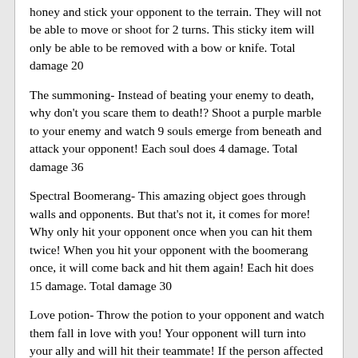honey and stick your opponent to the terrain. They will not be able to move or shoot for 2 turns. This sticky item will only be able to be removed with a bow or knife. Total damage 20
The summoning- Instead of beating your enemy to death, why don't you scare them to death!? Shoot a purple marble to your enemy and watch 9 souls emerge from beneath and attack your opponent! Each soul does 4 damage. Total damage 36
Spectral Boomerang- This amazing object goes through walls and opponents. But that's not it, it comes for more! Why only hit your opponent once when you can hit them twice! When you hit your opponent with the boomerang once, it will come back and hit them again! Each hit does 15 damage. Total damage 30
Love potion- Throw the potion to your opponent and watch them fall in love with you! Your opponent will turn into your ally and will hit their teammate! If the person affected by the potion tries to skip their turn then an additional 20 damage will be taken away! Potion will only last for one turn. Total damage 15, however if he/she tries to skip turn, total damage will be 35. Partial credit to Mr_209
Invisible shield potion- Drink this potion and an invisible shield will appear! The shield protects you from getting hit, however, you can still hit them! If the opponent hits the shield, then they will be taken away 15 hp! This potion will last for two turns. Total damage 0 (15 if they hit the shield)